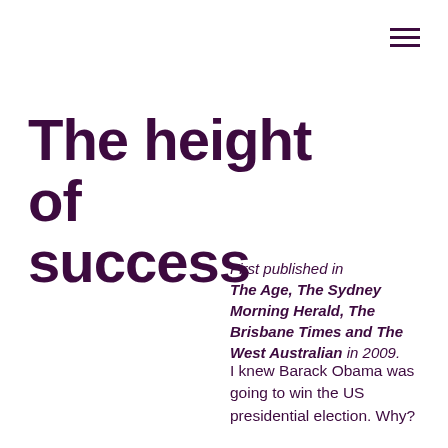The height of success
First published in The Age, The Sydney Morning Herald, The Brisbane Times and The West Australian in 2009.
I knew Barack Obama was going to win the US presidential election. Why?